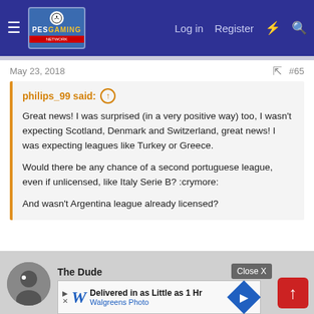PESGaming — Log in  Register
May 23, 2018  #65
philips_99 said: ↑

Great news! I was surprised (in a very positive way) too, I wasn't expecting Scotland, Denmark and Switzerland, great news! I was expecting leagues like Turkey or Greece.

Would there be any chance of a second portuguese league, even if unlicensed, like Italy Serie B? :crymore:

And wasn't Argentina league already licensed?
Argentine league wasn't fully licensed before.
I'm quite sure one of the other two would be Turkey.
The Dude
[Figure (screenshot): Walgreens Photo advertisement banner: Delivered in as Little as 1 Hr]
Close X